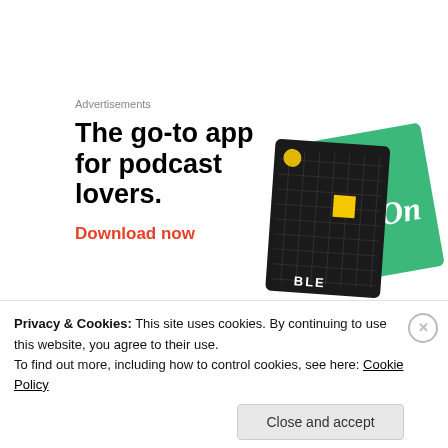Advertisements
[Figure (illustration): Advertisement for a podcast app showing headline 'The go-to app for podcast lovers.' with 'Download now' in red, and two app interface cards (black grid card and green card) on the right side.]
I was taken aback by the effort each and every
Privacy & Cookies: This site uses cookies. By continuing to use this website, you agree to their use.
To find out more, including how to control cookies, see here: Cookie Policy
Close and accept